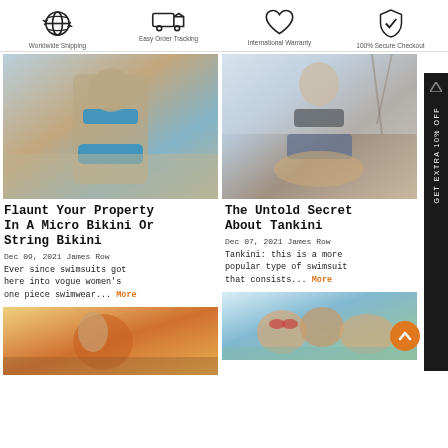[Figure (infographic): Four icons in a row: globe with arrows (Worldwide Shipping), delivery truck (Easy Order Tracking), heart (International Warranty), shield with checkmark (100% Secure Checkout)]
Worldwide Shipping
Easy Order Tracking
International Warranty
100% Secure Checkout
[Figure (photo): Woman in blue bikini at beach]
Flaunt Your Property In A Micro Bikini Or String Bikini
Dec 09, 2021 James Row
Ever since swimsuits got here into vogue women's one piece swimwear... More
[Figure (photo): Woman in black bikini top and jeans sitting outdoors]
The Untold Secret About Tankini
Dec 07, 2021 James Row
Tankini: this is a more popular type of swimsuit that consists... More
[Figure (photo): Person with orange smoke at beach]
[Figure (photo): Group of women in swimwear at beach]